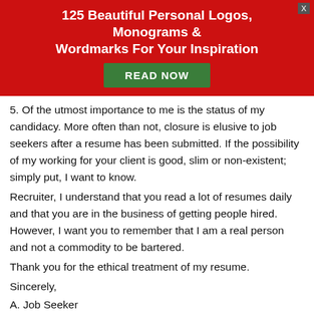[Figure (other): Red banner ad with title '125 Beautiful Personal Logos, Monograms & Wordmarks For Your Inspiration' and a green 'READ NOW' button, with a grey X close button]
5. Of the utmost importance to me is the status of my candidacy. More often than not, closure is elusive to job seekers after a resume has been submitted. If the possibility of my working for your client is good, slim or non-existent; simply put, I want to know.
Recruiter, I understand that you read a lot of resumes daily and that you are in the business of getting people hired. However, I want you to remember that I am a real person and not a commodity to be bartered.
Thank you for the ethical treatment of my resume.
Sincerely,
A. Job Seeker
14 SHARES  4  4  6